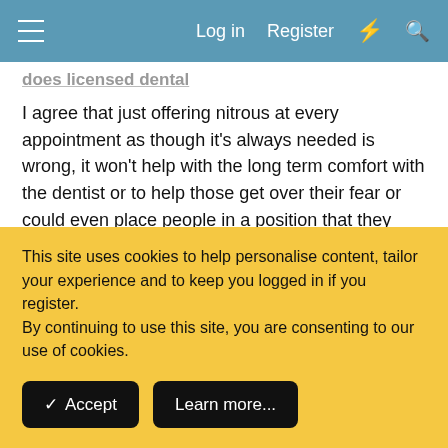Log in  Register
does licensed dental
I agree that just offering nitrous at every appointment as though it's always needed is wrong, it won't help with the long term comfort with the dentist or to help those get over their fear or could even place people in a position that they always need it for dental appointments. Personally I feel nitrous is a better solution then oral sedation every time one goes to the dentist though, as the effects from it are pretty much gone after a couple of minutes and you are awake during the whole thing, just calmer.
I can get the roller coaster feeling on it if it's too high, I just ask
This site uses cookies to help personalise content, tailor your experience and to keep you logged in if you register.
By continuing to use this site, you are consenting to our use of cookies.
✓ Accept    Learn more...